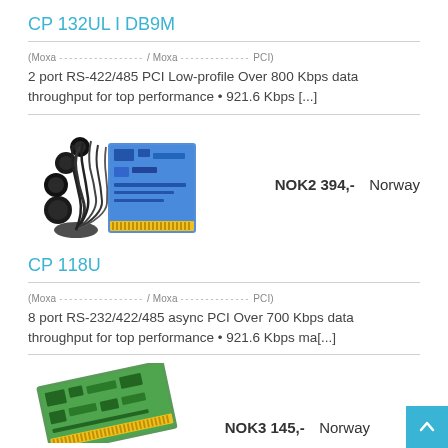CP 132UL I DB9M
(Moxa / Moxa PCI)
2 port RS-422/485 PCI Low-profile Over 800 Kbps data throughput for top performance • 921.6 Kbps [...]
[Figure (photo): Photo of CP 132UL I DB9M PCI card with cables and DB9 connectors]
NOK2 394,-   Norway
CP 118U
(Moxa / Moxa PCI)
8 port RS-232/422/485 async PCI Over 700 Kbps data throughput for top performance • 921.6 Kbps ma[...]
NOK3 145,-   Norway
[Figure (photo): Photo of CP 118U PCI card (green circuit board)]